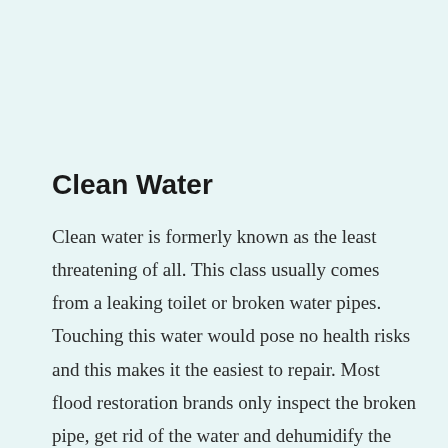Clean Water
Clean water is formerly known as the least threatening of all. This class usually comes from a leaking toilet or broken water pipes. Touching this water would pose no health risks and this makes it the easiest to repair. Most flood restoration brands only inspect the broken pipe, get rid of the water and dehumidify the place. But, if the issue is not resolved fast, the clean